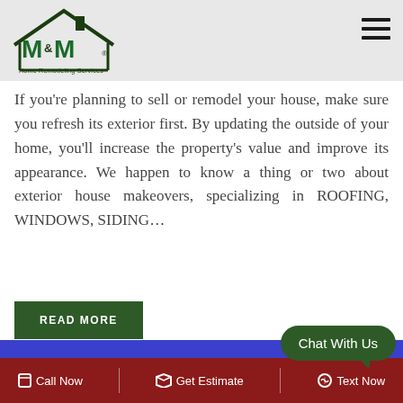[Figure (logo): M&M Home Remodeling Services logo with house outline in dark green]
If you're planning to sell or remodel your house, make sure you refresh its exterior first. By updating the outside of your home, you'll increase the property's value and improve its appearance. We happen to know a thing or two about exterior house makeovers, specializing in ROOFING, WINDOWS, SIDING…
READ MORE
Chat With Us
Call Now | Get Estimate | Text Now